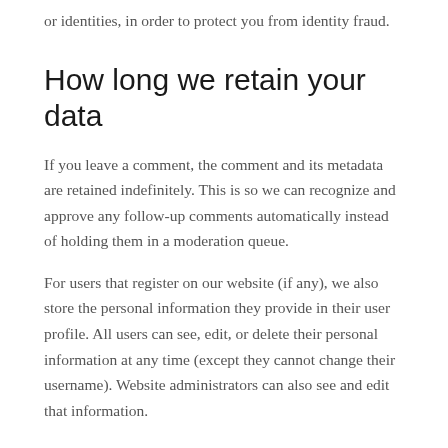or identities, in order to protect you from identity fraud.
How long we retain your data
If you leave a comment, the comment and its metadata are retained indefinitely. This is so we can recognize and approve any follow-up comments automatically instead of holding them in a moderation queue.
For users that register on our website (if any), we also store the personal information they provide in their user profile. All users can see, edit, or delete their personal information at any time (except they cannot change their username). Website administrators can also see and edit that information.